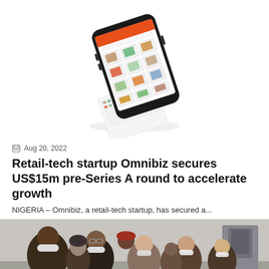[Figure (illustration): A smartphone shown at an angle with a retail/grocery app on screen, and a paper receipt-like strip unrolling from the bottom.]
Aug 20, 2022
Retail-tech startup Omnibiz secures US$15m pre-Series A round to accelerate growth
NIGERIA – Omnibiz, a retail-tech startup, has secured a...
[Figure (photo): Group of people wearing face masks gathered around equipment indoors; appears to be an official visit or inspection.]